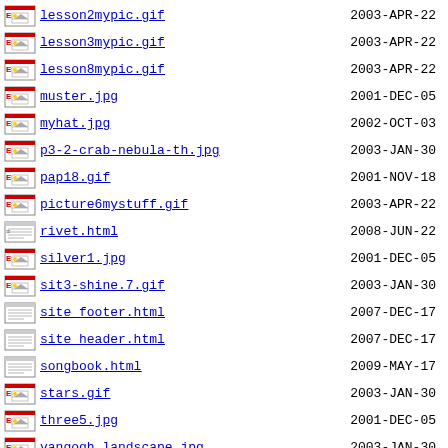lesson2mypic.gif  2003-APR-22
lesson3mypic.gif  2003-APR-22
lesson8mypic.gif  2003-APR-22
muster.jpg  2001-DEC-05
myhat.jpg  2002-OCT-03
p3-2-crab-nebula-th.jpg  2003-JAN-30
pap18.gif  2001-NOV-18
picture6mystuff.gif  2003-APR-22
rivet.html  2008-JUN-22
silver1.jpg  2001-DEC-05
sit3-shine.7.gif  2003-JAN-30
site_footer.html  2007-DEC-17
site_header.html  2007-DEC-17
songbook.html  2009-MAY-17
stars.gif  2003-JAN-30
three5.jpg  2001-DEC-05
vangogh_landscape.jpg  2003-JAN-30